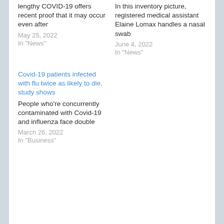lengthy COVID-19 offers recent proof that it may occur even after
May 25, 2022
In "News"
In this inventory picture, registered medical assistant Elaine Lomax handles a nasal swab
June 4, 2022
In "News"
Covid-19 patients infected with flu twice as likely to die, study shows
People who're concurrently contaminated with Covid-19 and influenza face double
March 26, 2022
In "Business"